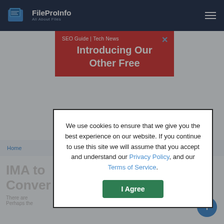FileProInfo — All About Files
[Figure (screenshot): Red promotional banner: 'SEO Guide | Tech News — Introducing Our Other Free' with a close (×) button]
Home
IMA to Conver
There are … able to
Perhaps the … can be
We use cookies to ensure that we give you the best experience on our website. If you continue to use this site we will assume that you accept and understand our Privacy Policy, and our Terms of Service.
I Agree